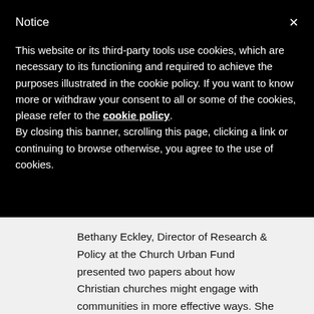Notice
This website or its third-party tools use cookies, which are necessary to its functioning and required to achieve the purposes illustrated in the cookie policy. If you want to know more or withdraw your consent to all or some of the cookies, please refer to the cookie policy.
By closing this banner, scrolling this page, clicking a link or continuing to browse otherwise, you agree to the use of cookies.
Bethany Eckley, Director of Research & Policy at the Church Urban Fund presented two papers about how Christian churches might engage with communities in more effective ways. She underscored that relationships, not programmes, bring healing. Canon Derek Turnham spoke about the important role of Caritas and the Catholic